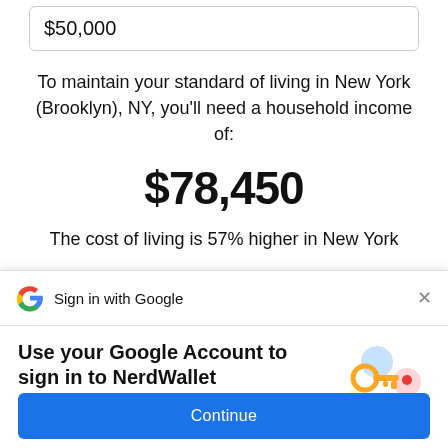$50,000
To maintain your standard of living in New York (Brooklyn), NY, you’ll need a household income of:
$78,450
The cost of living is 57% higher in New York
Sign in with Google
Use your Google Account to sign in to NerdWallet
No more passwords to remember.
Signing in is fast, simple and secure.
[Figure (illustration): Google sign-in illustration with a golden key and colorful circular icons]
Continue